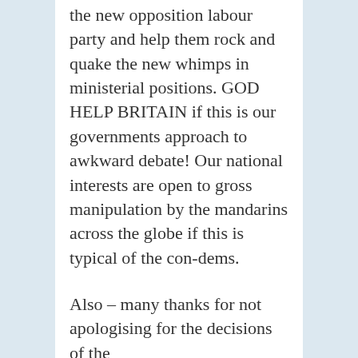the new opposition labour party and help them rock and quake the new whimps in ministerial positions. GOD HELP BRITAIN if this is our governments approach to awkward debate! Our national interests are open to gross manipulation by the mandarins across the globe if this is typical of the con-dems.

Also – many thanks for not apologising for the decisions of the